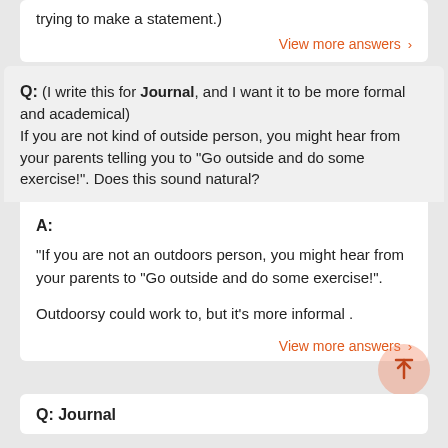trying to make a statement.)
View more answers ›
Q: (I write this for Journal, and I want it to be more formal and academical) If you are not kind of outside person, you might hear from your parents telling you to "Go outside and do some exercise!". Does this sound natural?
A:
"If you are not an outdoors person, you might hear from your parents to "Go outside and do some exercise!".

Outdoorsy could work to, but it's more informal .
View more answers ›
Q: Journal